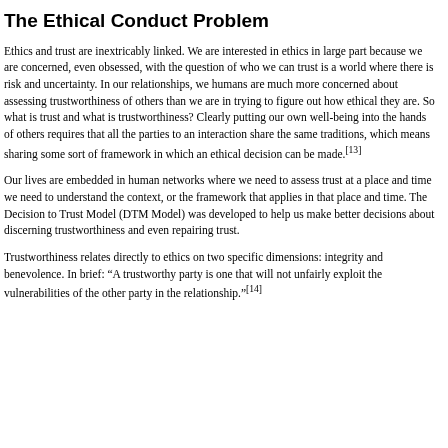The Ethical Conduct Problem
Ethics and trust are inextricably linked. We are interested in ethics in large part because we are concerned, even obsessed, with the question of who we can trust is a world where there is risk and uncertainty. In our relationships, we humans are much more concerned about assessing trustworthiness of others than we are in trying to figure out how ethical they are. So what is trust and what is trustworthiness? Clearly putting our own well-being into the hands of others requires that all the parties to an interaction share the same traditions, which means sharing some sort of framework in which an ethical decision can be made.[13]
Our lives are embedded in human networks where we need to assess trust at a place and time we need to understand the context, or the framework that applies in that place and time. The Decision to Trust Model (DTM Model) was developed to help us make better decisions about discerning trustworthiness and even repairing trust.
Trustworthiness relates directly to ethics on two specific dimensions: integrity and benevolence. In brief: “A trustworthy party is one that will not unfairly exploit the vulnerabilities of the other party in the relationship.”[14]